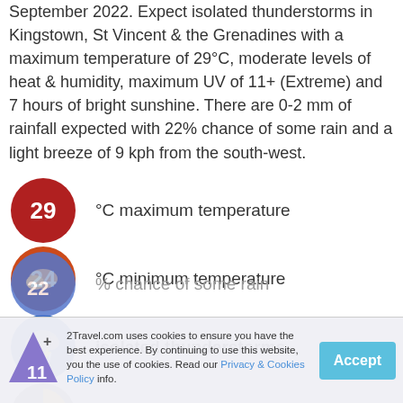September 2022. Expect isolated thunderstorms in Kingstown, St Vincent & the Grenadines with a maximum temperature of 29°C, moderate levels of heat & humidity, maximum UV of 11+ (Extreme) and 7 hours of bright sunshine. There are 0-2 mm of rainfall expected with 22% chance of some rain and a light breeze of 9 kph from the south-west.
29 °C maximum temperature
24 °C minimum temperature
isolated thunderstorms
7 hours of sunshine
11 UV index
22 % chance of some rain
2Travel.com uses cookies to ensure you have the best experience. By continuing to use this website, you the use of cookies. Read our Privacy & Cookies Policy info.